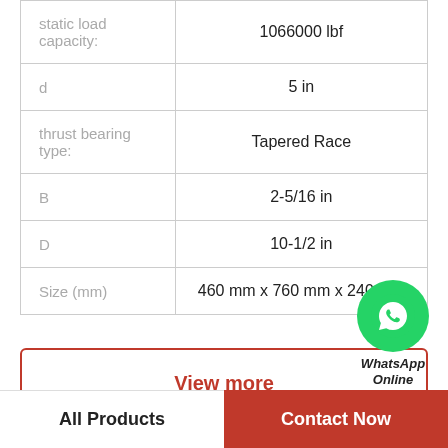| Property | Value |
| --- | --- |
| static load capacity: | 1066000 lbf |
| d | 5 in |
| thrust bearing type: | Tapered Race |
| B | 2-5/16 in |
| D | 10-1/2 in |
| Size (mm) | 460 mm x 760 mm x 240 mm |
[Figure (logo): WhatsApp Online green circle icon with phone handset, labeled WhatsApp Online]
View more
Company Profile
All Products  |  Contact Now